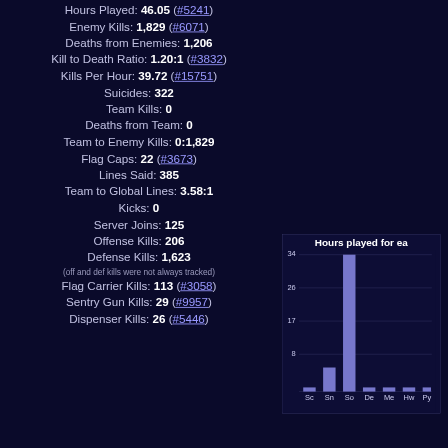Hours Played: 46.05 (#5241)
Enemy Kills: 1,829 (#6071)
Deaths from Enemies: 1,206
Kill to Death Ratio: 1.20:1 (#3832)
Kills Per Hour: 39.72 (#15751)
Suicides: 322
Team Kills: 0
Deaths from Team: 0
Team to Enemy Kills: 0:1,829
Flag Caps: 22 (#3673)
Lines Said: 385
Team to Global Lines: 3.58:1
Kicks: 0
Server Joins: 125
Offense Kills: 206
Defense Kills: 1,623
(off and def kills were not always tracked)
Flag Carrier Kills: 113 (#3058)
Sentry Gun Kills: 29 (#9957)
Dispenser Kills: 26 (#5446)
[Figure (bar-chart): Hours played for ea...]